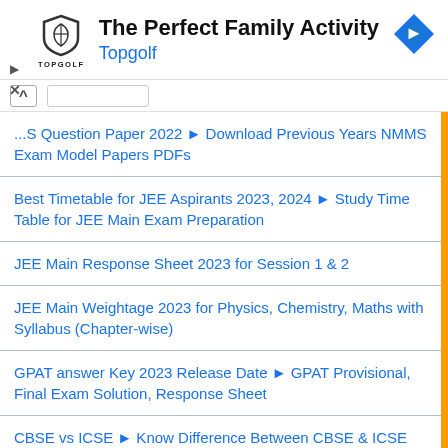[Figure (infographic): Topgolf advertisement banner with shield logo, 'The Perfect Family Activity' headline, 'Topgolf' subheading in blue, navigation arrow icon, play and close buttons on left.]
...S Question Paper 2022 ▸ Download Previous Years NMMS Exam Model Papers PDFs
Best Timetable for JEE Aspirants 2023, 2024 ▸ Study Time Table for JEE Main Exam Preparation
JEE Main Response Sheet 2023 for Session 1 & 2
JEE Main Weightage 2023 for Physics, Chemistry, Maths with Syllabus (Chapter-wise)
GPAT answer Key 2023 Release Date ▸ GPAT Provisional, Final Exam Solution, Response Sheet
CBSE vs ICSE ▸ Know Difference Between CBSE & ICSE Boards